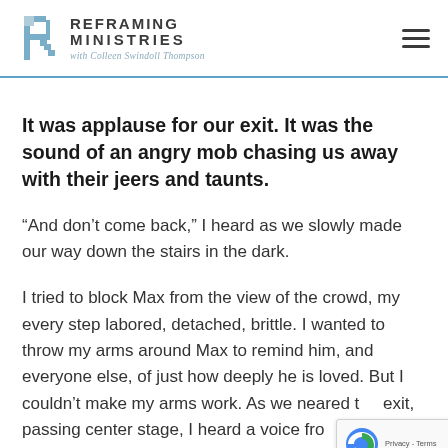REFRAMING MINISTRIES with Colleen Swindoll Thompson
It was applause for our exit. It was the sound of an angry mob chasing us away with their jeers and taunts.
“And don’t come back,” I heard as we slowly made our way down the stairs in the dark.
I tried to block Max from the view of the crowd, my every step labored, detached, brittle. I wanted to throw my arms around Max to remind him, and everyone else, of just how deeply he is loved. But I couldn’t make my arms work. As we neared the exit, passing center stage, I heard a voice from the back of the theater. It was a man shouting over